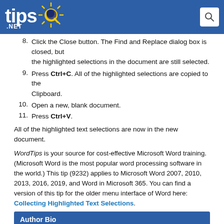tips.net
8. Click the Close button. The Find and Replace dialog box is closed, but the highlighted selections in the document are still selected.
9. Press Ctrl+C. All of the highlighted selections are copied to the Clipboard.
10. Open a new, blank document.
11. Press Ctrl+V.
All of the highlighted text selections are now in the new document.
WordTips is your source for cost-effective Microsoft Word training. (Microsoft Word is the most popular word processing software in the world.) This tip (9232) applies to Microsoft Word 2007, 2010, 2013, 2016, 2019, and Word in Microsoft 365. You can find a version of this tip for the older menu interface of Word here: Collecting Highlighted Text Selections.
Author Bio
Allen Wyatt